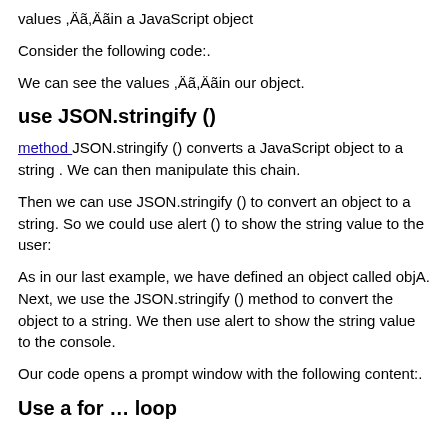values “in a JavaScript object
Consider the following code:.
We can see the values “in our object.
use JSON.stringify ()
method JSON.stringify () converts a JavaScript object to a string . We can then manipulate this chain.
Then we can use JSON.stringify () to convert an object to a string. So we could use alert () to show the string value to the user:
As in our last example, we have defined an object called objA. Next, we use the JSON.stringify () method to convert the object to a string. We then use alert to show the string value to the console.
Our code opens a prompt window with the following content:.
Use a for … loop